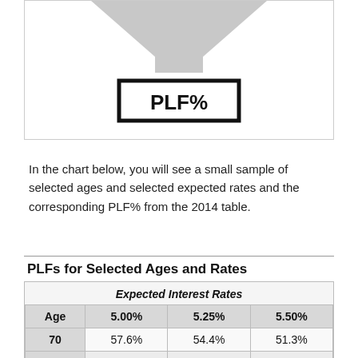[Figure (schematic): Funnel/trapezoid shape pointing downward into a box labeled PLF%]
In the chart below, you will see a small sample of selected ages and selected expected rates and the corresponding PLF% from the 2014 table.
PLFs for Selected Ages and Rates
| Age | 5.00% | 5.25% | 5.50% |
| --- | --- | --- | --- |
| 70 | 57.6% | 54.4% | 51.3% |
| 71 | 58.3% | 55.2% | 52.1% |
| 72 | 59.1% | 56.0% | 52.9% |